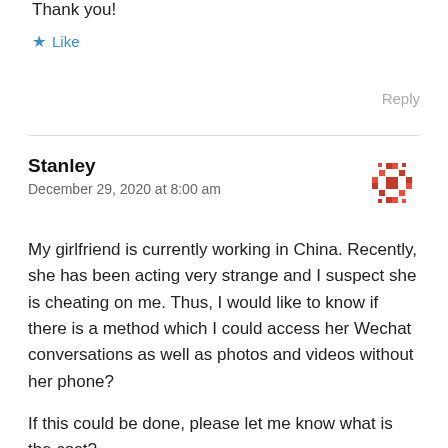Thank you!
★ Like
Reply
Stanley
December 29, 2020 at 8:00 am
My girlfriend is currently working in China. Recently, she has been acting very strange and I suspect she is cheating on me. Thus, I would like to know if there is a method which I could access her Wechat conversations as well as photos and videos without her phone?

If this could be done, please let me know what is the cost?